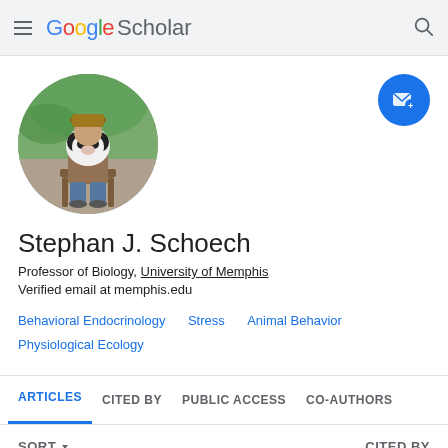Google Scholar
[Figure (photo): Circular profile photo of Stephan J. Schoech holding a panda, seated outdoors]
Stephan J. Schoech
Professor of Biology, University of Memphis
Verified email at memphis.edu
Behavioral Endocrinology
Stress
Animal Behavior
Physiological Ecology
ARTICLES   CITED BY   PUBLIC ACCESS   CO-AUTHORS
SORT ▾   CITED BY